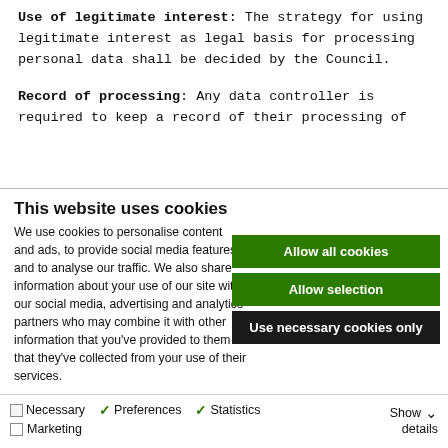Use of legitimate interest: The strategy for using legitimate interest as legal basis for processing personal data shall be decided by the Council.
Record of processing: Any data controller is required to keep a record of their processing of
This website uses cookies
We use cookies to personalise content and ads, to provide social media features and to analyse our traffic. We also share information about your use of our site with our social media, advertising and analytics partners who may combine it with other information that you've provided to them or that they've collected from your use of their services.
Allow all cookies
Allow selection
Use necessary cookies only
Necessary  Preferences  Statistics  Marketing  Show details